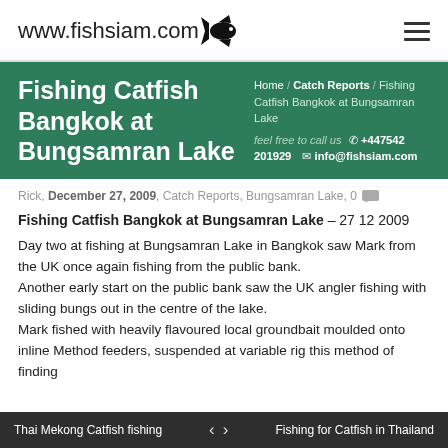www.fishsiam.com
Fishing Catfish Bangkok at Bungsamran Lake
Home / Catch Reports / Fishing Catfish Bangkok at Bungsamran Lake  feel free to call us  +447542 201929  info@fishsiam.com
Rick, December 27, 2009, Catch Reports, Bungsamran Lake, 0
Fishing Catfish Bangkok at Bungsamran Lake – 27 12 2009
Day two at fishing at Bungsamran Lake in Bangkok saw Mark from the UK once again fishing from the public bank.
Another early start on the public bank saw the UK angler fishing with sliding bungs out in the centre of the lake.
Mark fished with heavily flavoured local groundbait moulded onto inline Method feeders, suspended at variable rig this method of finding
Thai Mekong Catfish fishing   <   >   Fishing for Catfish in Thailand